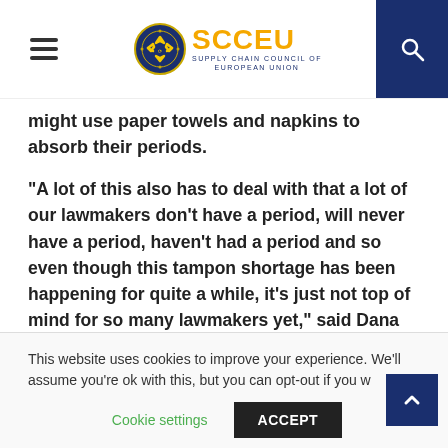[Figure (logo): SCCEU Supply Chain Council of European Union logo with circular emblem and hamburger menu on left, search icon on right]
might use paper towels and napkins to absorb their periods.
“A lot of this also has to deal with that a lot of our lawmakers don’t have a period, will never have a period, haven’t had a period and so even though this tampon shortage has been happening for quite a while, it’s just not top of mind for so many lawmakers yet,” said Dana Marlowe, the president of I Support the Girls, an organization that allocates bras and menstrual products to people who need them.
This website uses cookies to improve your experience. We’ll assume you’re ok with this, but you can opt-out if you w
Cookie settings
ACCEPT